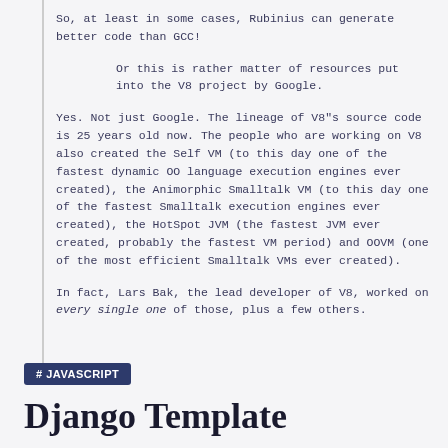So, at least in some cases, Rubinius can generate better code than GCC!
Or this is rather matter of resources put into the V8 project by Google.
Yes. Not just Google. The lineage of V8"s source code is 25 years old now. The people who are working on V8 also created the Self VM (to this day one of the fastest dynamic OO language execution engines ever created), the Animorphic Smalltalk VM (to this day one of the fastest Smalltalk execution engines ever created), the HotSpot JVM (the fastest JVM ever created, probably the fastest VM period) and OOVM (one of the most efficient Smalltalk VMs ever created).
In fact, Lars Bak, the lead developer of V8, worked on every single one of those, plus a few others.
# JAVASCRIPT
Django Template